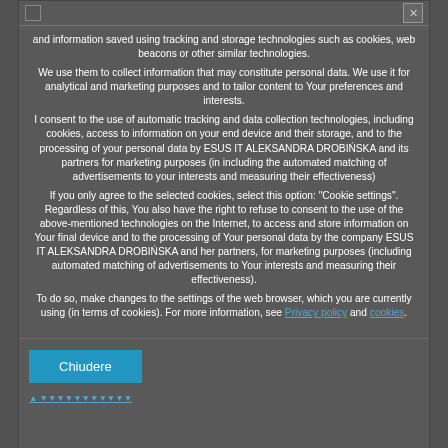and information saved using tracking and storage technologies such as cookies, web beacons or other similar technologies. We use them to collect information that may constitute personal data. We use it for analytical and marketing purposes and to tailor content to Your preferences and interests. I consent to the use of automatic tracking and data collection technologies, including cookies, access to information on your end device and their storage, and to the processing of your personal data by ESUS IT ALEKSANDRA DROBIŃSKA and its partners for marketing purposes (in including the automated matching of advertisements to your interests and measuring their effectiveness) If you only agree to the selected cookies, select this option: "Cookie settings". Regardless of this, You also have the right to refuse to consent to the use of the above-mentioned technologies on the Internet, to access and store information on Your final device and to the processing of Your personal data by the company ESUS IT ALEKSANDRA DROBIŃSKA and her partners, for marketing purposes (including automated matching of advertisements to Your interests and measuring their effectiveness). To do so, make changes to the settings of the web browser, which you are currently using (in terms of cookies). For more information, see Privacy policy and cookies.
Chiudere